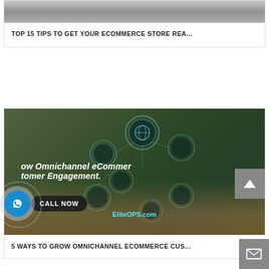[Figure (screenshot): Partial image at top showing blurred/dark photography equipment on a desk]
TOP 15 TIPS TO GET YOUR ECOMMERCE STORE REA...
[Figure (photo): Omnichannel eCommerce concept image showing hands typing on laptop with floating digital icons and text overlay reading 'How Omnichannel eCommer... tomer Engagement.' and website EliteOPS.com, with a CALL NOW button overlay]
5 WAYS TO GROW OMNICHANNEL ECOMMERCE CUS...